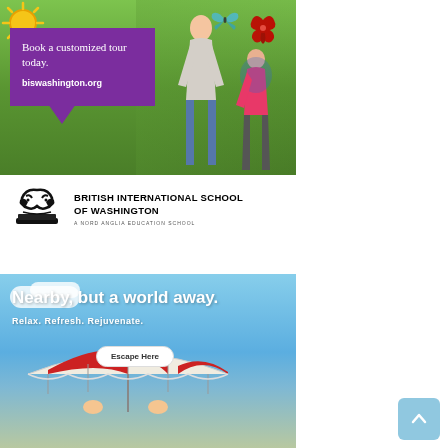[Figure (illustration): British International School of Washington advertisement showing a mother and young girl walking outdoors with school backpack, decorative sun and butterfly/flower doodles, purple box overlay with text 'Book a customized tour today. biswashington.org']
Book a customized tour today. biswashington.org
[Figure (logo): British International School of Washington logo with ornate bird/book emblem, text: BRITISH INTERNATIONAL SCHOOL OF WASHINGTON, A NORD ANGLIA EDUCATION SCHOOL]
[Figure (illustration): Travel advertisement showing beach scene with striped umbrella and people below. Text: 'Nearby, but a world away. Relax. Refresh. Rejuvenate.' with an 'Escape Here' button.]